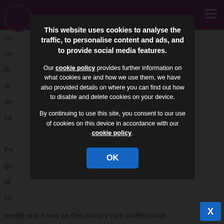[Figure (screenshot): Cookie consent modal overlay on a website. Dark semi-transparent background covers the page. A dark modal box contains cookie consent text and an OK button.]
This website uses cookies to analyse the traffic, to personalise content and ads, and to provide social media features.
Our cookie policy provides further information on what cookies are and how we use them, we have also provided details on where you can find out how to disable and delete cookies on your device.
By continuing to use this site, you consent to our use of cookies on this device in accordance with our cookie policy.
OK
people and it may be that primary care professionals